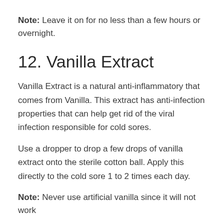Note: Leave it on for no less than a few hours or overnight.
12. Vanilla Extract
Vanilla Extract is a natural anti-inflammatory that comes from Vanilla. This extract has anti-infection properties that can help get rid of the viral infection responsible for cold sores.
Use a dropper to drop a few drops of vanilla extract onto the sterile cotton ball. Apply this directly to the cold sore 1 to 2 times each day.
Note: Never use artificial vanilla since it will not work